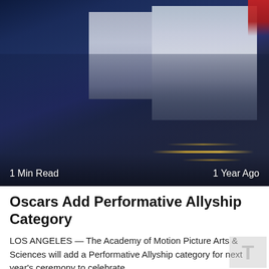[Figure (photo): A large auditorium filled with an audience facing a stage with screens and dramatic lighting. Photo overlay shows '1 Min Read' on the left and '1 Year Ago' on the right.]
Oscars Add Performative Allyship Category
LOS ANGELES — The Academy of Motion Picture Arts & Sciences will add a Performative Allyship category for next year's ceremony to celebrate